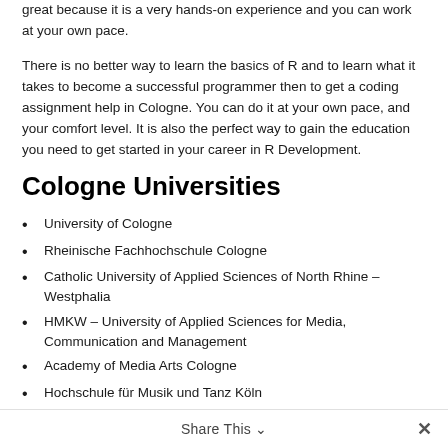great because it is a very hands-on experience and you can work at your own pace.
There is no better way to learn the basics of R and to learn what it takes to become a successful programmer then to get a coding assignment help in Cologne. You can do it at your own pace, and your comfort level. It is also the perfect way to gain the education you need to get started in your career in R Development.
Cologne Universities
University of Cologne
Rheinische Fachhochschule Cologne
Catholic University of Applied Sciences of North Rhine – Westphalia
HMKW – University of Applied Sciences for Media, Communication and Management
Academy of Media Arts Cologne
Hochschule für Musik und Tanz Köln
Share This ∨  ✕